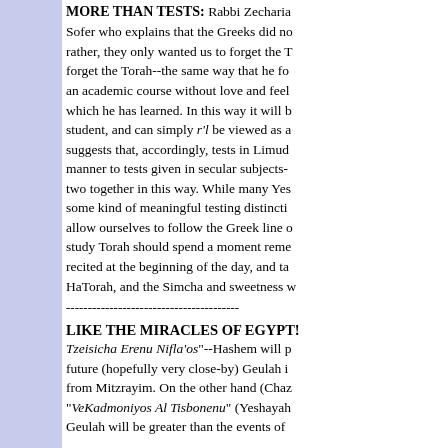MORE THAN TESTS: Rabbi Zecharia Sofer who explains that the Greeks did no rather, they only wanted us to forget the T forget the Torah--the same way that he fo an academic course without love and feel which he has learned. In this way it will b student, and can simply r'l be viewed as a suggests that, accordingly, tests in Limud manner to tests given in secular subjects- two together in this way. While many Yes some kind of meaningful testing distincti allow ourselves to follow the Greek line o study Torah should spend a moment reme recited at the beginning of the day, and ta HaTorah, and the Simcha and sweetness w
----------------------------------------
LIKE THE MIRACLES OF EGYPT!
Tzeisicha Erenu Nifla'os"--Hashem will p future (hopefully very close-by) Geulah i from Mitzrayim. On the other hand (Chaz "VeKadmoniyos Al Tisbonenu" (Yeshayah Geulah will be greater than the events of